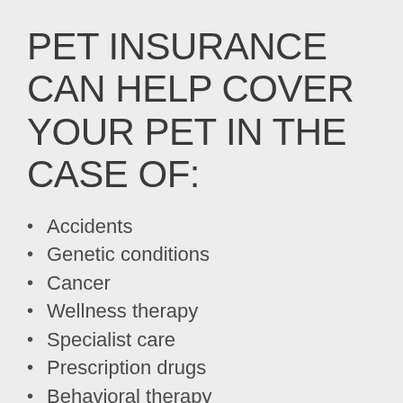PET INSURANCE CAN HELP COVER YOUR PET IN THE CASE OF:
Accidents
Genetic conditions
Cancer
Wellness therapy
Specialist care
Prescription drugs
Behavioral therapy
And more